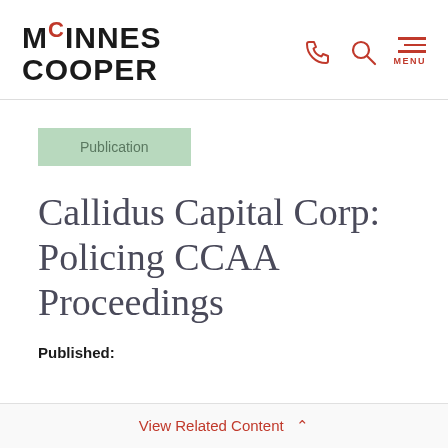McInnes Cooper
Publication
Callidus Capital Corp: Policing CCAA Proceedings
Published:
View Related Content